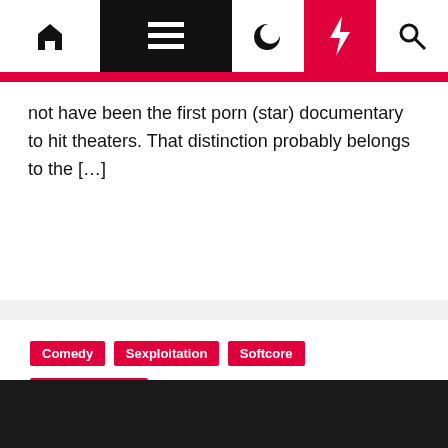Navigation bar with home, menu, moon, lightning, and search icons
not have been the first porn (star) documentary to hit theaters. That distinction probably belongs to the […]
Comedy
Sexploitation
Softcore
Vintage Erotica
Emmanuelle in Soho (1981) watch uncut
MoCuishle  2 weeks ago